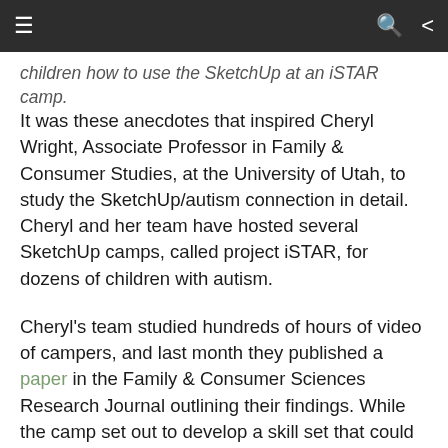≡  🔍  ⋮
children how to use the SketchUp at an iSTAR camp.
It was these anecdotes that inspired Cheryl Wright, Associate Professor in Family & Consumer Studies, at the University of Utah, to study the SketchUp/autism connection in detail. Cheryl and her team have hosted several SketchUp camps, called project iSTAR, for dozens of children with autism.
Cheryl's team studied hundreds of hours of video of campers, and last month they published a paper in the Family & Consumer Sciences Research Journal outlining their findings. While the camp set out to develop a skill set that could lead to potential employment, Utah researchers found several added benefits, such as stronger interpersonal relationships and greater